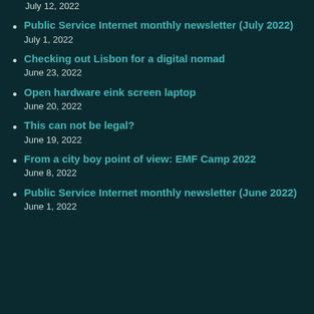July 12, 2022
Public Service Internet monthly newsletter (July 2022)
July 1, 2022
Checking out Lisbon for a digital nomad
June 23, 2022
Open hardware eink screen laptop
June 20, 2022
This can not be legal?
June 19, 2022
From a city boy point of view: EMF Camp 2022
June 8, 2022
Public Service Internet monthly newsletter (June 2022)
June 1, 2022